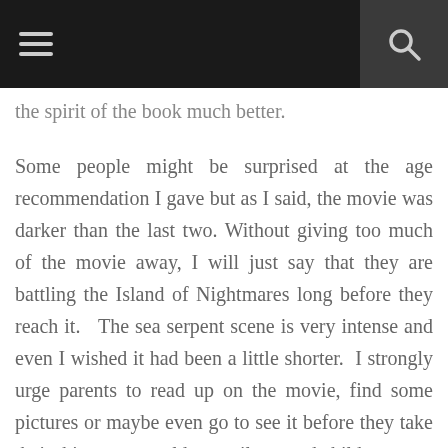[navigation bar with menu and search icons]
…y p…y, g…y p… the spirit of the book much better.
Some people might be surprised at the age recommendation I gave but as I said, the movie was darker than the last two. Without giving too much of the movie away, I will just say that they are battling the Island of Nightmares long before they reach it.   The sea serpent scene is very intense and even I wished it had been a little shorter.  I strongly urge parents to read up on the movie, find some pictures or maybe even go to see it before they take their thirteen year old or easily scared child.